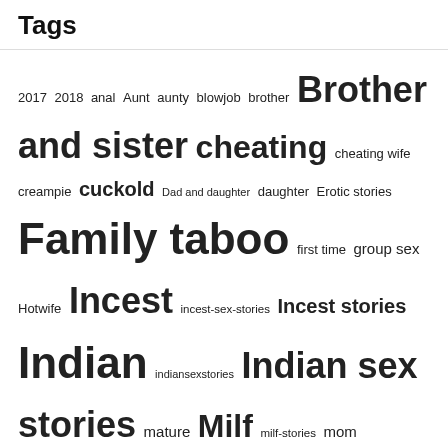Tags
2017 2018 anal Aunt aunty blowjob brother Brother and sister cheating cheating wife creampie cuckold Dad and daughter daughter Erotic stories Family taboo first time group sex Hotwife Incest incest-sex-stories Incest stories Indian indiansexstories Indian sex stories mature Milf milf-stories mom Mom and son Mom son mother mother son Porn stories pussy Real sex stories Sex sex4stories Sex stories sex story. sister son Taboo threesome wife
Archives